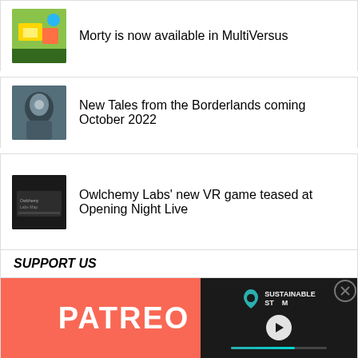Morty is now available in MultiVersus
New Tales from the Borderlands coming October 2022
Owlchemy Labs’ new VR game teased at Opening Night Live
SUPPORT US
[Figure (screenshot): Patreon promotional banner with orange background and white PATREON text, partially overlaid by a video player showing Sustainable Steam logo and play button]